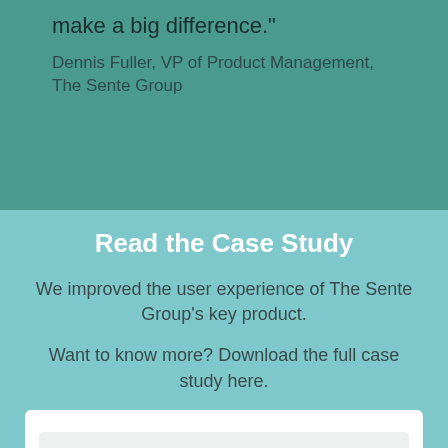make a big difference."
Dennis Fuller, VP of Product Management, The Sente Group
Read the Case Study
We improved the user experience of The Sente Group's key product.
Want to know more? Download the full case study here.
[Figure (screenshot): Web form with First Name input field and reCAPTCHA badge in lower right corner]